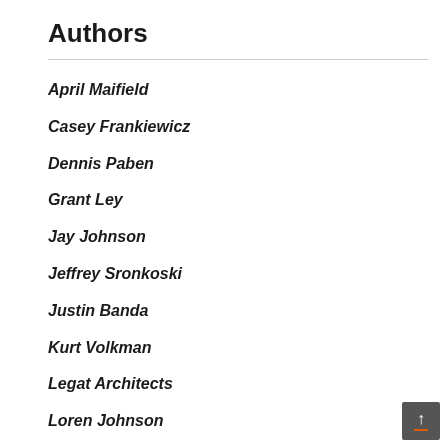Authors
April Maifield
Casey Frankiewicz
Dennis Paben
Grant Ley
Jay Johnson
Jeffrey Sronkoski
Justin Banda
Kurt Volkman
Legat Architects
Loren Johnson
Mark Siwik